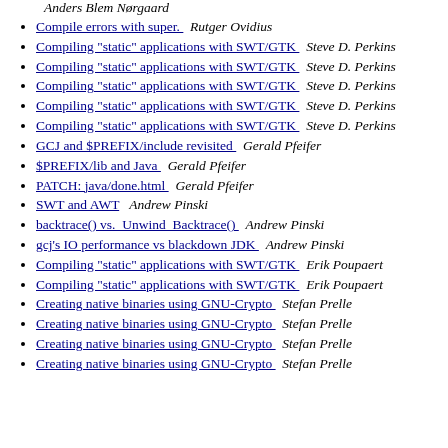Anders Blem Nørgaard
Compile errors with super.  Rutger Ovidius
Compiling "static" applications with SWT/GTK  Steve D. Perkins
Compiling "static" applications with SWT/GTK  Steve D. Perkins
Compiling "static" applications with SWT/GTK  Steve D. Perkins
Compiling "static" applications with SWT/GTK  Steve D. Perkins
Compiling "static" applications with SWT/GTK  Steve D. Perkins
GCJ and $PREFIX/include revisited  Gerald Pfeifer
$PREFIX/lib and Java  Gerald Pfeifer
PATCH: java/done.html  Gerald Pfeifer
SWT and AWT  Andrew Pinski
backtrace() vs.  Unwind_Backtrace()  Andrew Pinski
gcj's IO performance vs blackdown JDK  Andrew Pinski
Compiling "static" applications with SWT/GTK  Erik Poupaert
Compiling "static" applications with SWT/GTK  Erik Poupaert
Creating native binaries using GNU-Crypto  Stefan Prelle
Creating native binaries using GNU-Crypto  Stefan Prelle
Creating native binaries using GNU-Crypto  Stefan Prelle
Creating native binaries using GNU-Crypto  Stefan Prelle